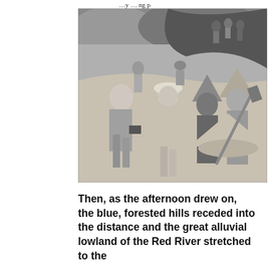…y … ng p
[Figure (photo): Black and white historical photograph showing a group of men, including a Western man on the left without a hat and several Asian men wearing conical straw hats and pith helmets, in what appears to be a construction site or excavation. Workers carry tools including shovels. Rocky terrain and hillside visible in background.]
Then, as the afternoon drew on, the blue, forested hills receded into the distance and the great alluvial lowland of the Red River stretched to the